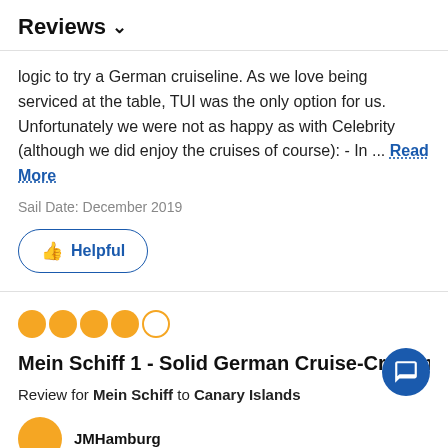Reviews ∨
logic to try a German cruiseline. As we love being serviced at the table, TUI was the only option for us. Unfortunately we were not as happy as with Celebrity (although we did enjoy the cruises of course): - In ... Read More
Sail Date: December 2019
Helpful
[Figure (other): 4 out of 5 stars rating shown as orange filled circles]
Mein Schiff 1 - Solid German Cruise-Craftsman...
Review for Mein Schiff to Canary Islands
JMHamburg